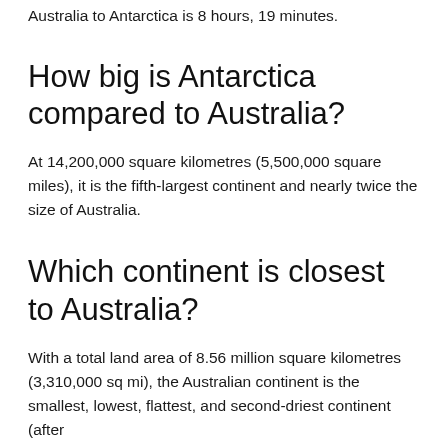Australia to Antarctica is 8 hours, 19 minutes.
How big is Antarctica compared to Australia?
At 14,200,000 square kilometres (5,500,000 square miles), it is the fifth-largest continent and nearly twice the size of Australia.
Which continent is closest to Australia?
With a total land area of 8.56 million square kilometres (3,310,000 sq mi), the Australian continent is the smallest, lowest, flattest, and second-driest continent (after